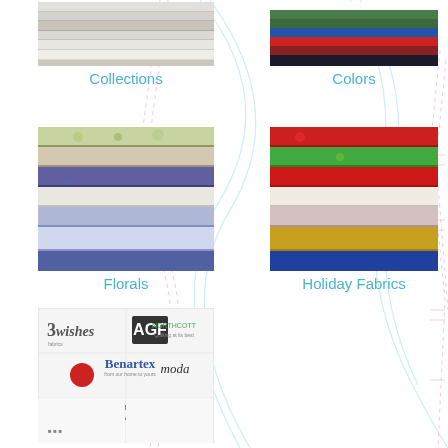[Figure (photo): Stacked folded fabrics in neutral/grey tones - Collections]
Collections
[Figure (photo): Stacked solid color fabrics in greens, blues, reds - Colors]
Colors
[Figure (photo): Stacked patterned floral fabrics in blue, white, yellow tones - Florals]
Florals
[Figure (photo): Stacked holiday patterned fabrics in red, green, gold tones - Holiday Fabrics]
Holiday Fabrics
[Figure (photo): Grid of fabric brand logos including 3 Wishes, AGF, Northcott, Benartex, Moda, Riley Blake Designs, Timeless Treasures, Windham Fabrics]